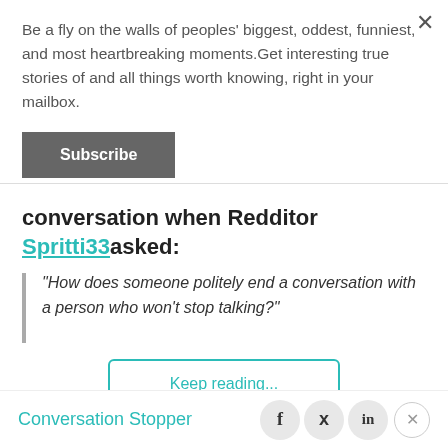Be a fly on the walls of peoples' biggest, oddest, funniest, and most heartbreaking moments.Get interesting true stories of and all things worth knowing, right in your mailbox.
Subscribe
conversation when Redditor Spritti33asked:
"How does someone politely end a conversation with a person who won't stop talking?"
Keep reading...
Conversation Stopper